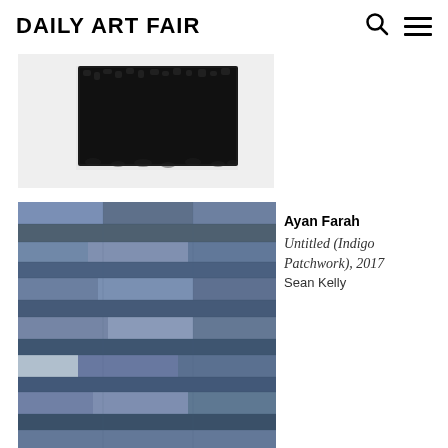Daily Art Fair
[Figure (photo): Abstract artwork showing a dark textured rectangle (appears to be dense black curly material) on a white background, partially cropped at top]
[Figure (photo): Ayan Farah artwork: indigo/blue patchwork fabric piece with horizontal strips of varying shades of blue-grey, 2017]
Ayan Farah
Untitled (Indigo Patchwork), 2017
Sean Kelly